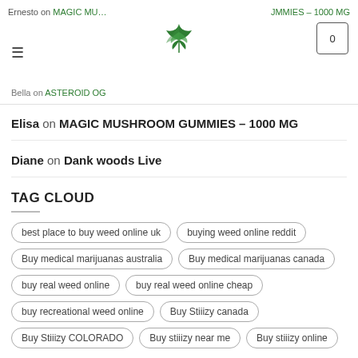Ernesto on MAGIC MUSHROOM GUMMIES – 1000 MG | JMMIES – 1000 MG | Bella on ASTEROID OG
Elisa on MAGIC MUSHROOM GUMMIES – 1000 MG
Diane on Dank woods Live
TAG CLOUD
best place to buy weed online uk
buying weed online reddit
Buy medical marijuanas australia
Buy medical marijuanas canada
buy real weed online
buy real weed online cheap
buy recreational weed online
Buy Stiiizy canada
Buy Stiiizy COLORADO
Buy stiiizy near me
Buy stiiizy online